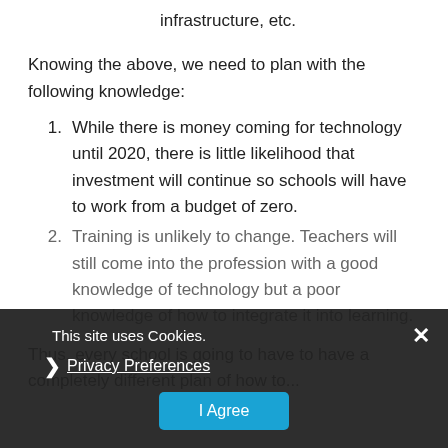infrastructure, etc.
Knowing the above, we need to plan with the following knowledge:
While there is money coming for technology until 2020, there is little likelihood that investment will continue so schools will have to work from a budget of zero.
Training is unlikely to change. Teachers will still come into the profession with a good knowledge of technology but a poor knowledge of how to integrate it into learning.
Thus, every school is going to have to have a completely different plan of how to embed technology...
Cookie banner: This site uses Cookies. Privacy Preferences. I Agree.